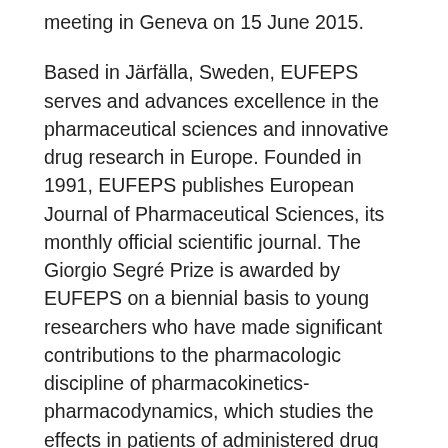meeting in Geneva on 15 June 2015.
Based in Järfälla, Sweden, EUFEPS serves and advances excellence in the pharmaceutical sciences and innovative drug research in Europe. Founded in 1991, EUFEPS publishes European Journal of Pharmaceutical Sciences, its monthly official scientific journal. The Giorgio Segré Prize is awarded by EUFEPS on a biennial basis to young researchers who have made significant contributions to the pharmacologic discipline of pharmacokinetics-pharmacodynamics, which studies the effects in patients of administered drug doses over time.
In 1998, EUFEPS established, in partnership with the Segré family, a special biennial award for investigators showing distinction in the field of PK and PD, to honour the memory of the late Professor